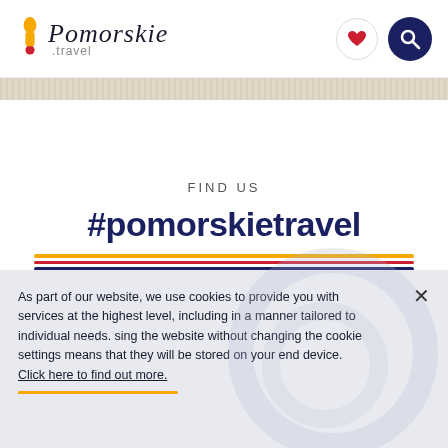[Figure (logo): Pomorskie.travel logo with yellow exclamation mark and italic script text]
FIND US
#pomorskietravel
As part of our website, we use cookies to provide you with services at the highest level, including in a manner tailored to individual needs. sing the website without changing the cookie settings means that they will be stored on your end device. Click here to find out more.